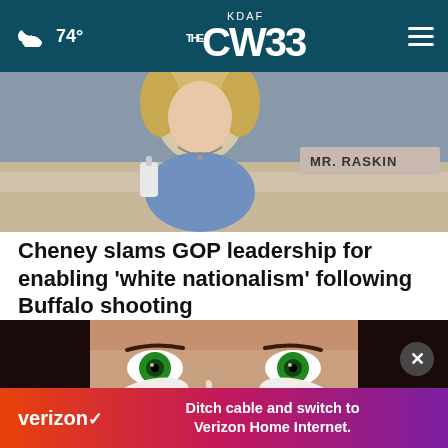74° KDAF CW33
[Figure (photo): A woman with blonde hair sitting behind a desk at what appears to be a congressional hearing, with a nameplate visible in the background.]
Cheney slams GOP leadership for enabling 'white nationalism' following Buffalo shooting
[Figure (photo): Close-up of a woman with green eyes applying white cream/makeup on her face with a brush.]
[Figure (other): Verizon advertisement banner: 'Ditch cable and switch to Verizon Home Internet.']